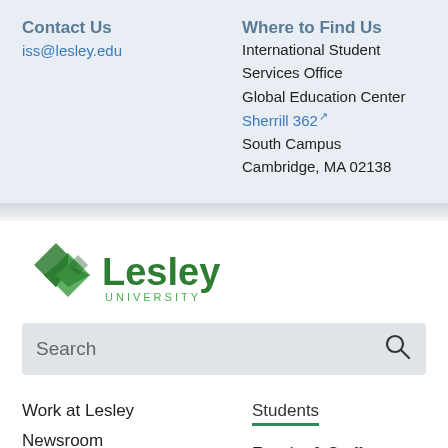Contact Us
iss@lesley.edu
Where to Find Us
International Student Services Office
Global Education Center
Sherrill 362
South Campus
Cambridge, MA 02138
[Figure (logo): Lesley University logo with green diamond/chevron icon and green text reading 'Lesley UNIVERSITY']
Search
Work at Lesley
Students
Newsroom
Faculty & Staff